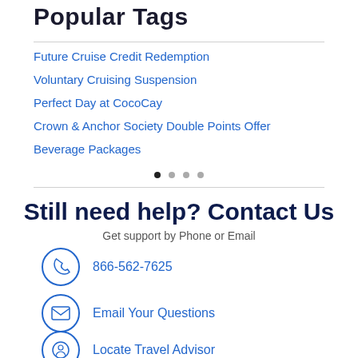Popular Tags
Future Cruise Credit Redemption
Voluntary Cruising Suspension
Perfect Day at CocoCay
Crown & Anchor Society Double Points Offer
Beverage Packages
Still need help? Contact Us
Get support by Phone or Email
866-562-7625
Email Your Questions
Locate Travel Advisor